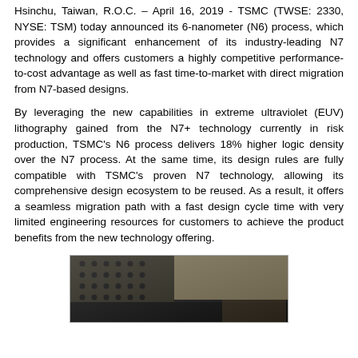Hsinchu, Taiwan, R.O.C. – April 16, 2019 - TSMC (TWSE: 2330, NYSE: TSM) today announced its 6-nanometer (N6) process, which provides a significant enhancement of its industry-leading N7 technology and offers customers a highly competitive performance-to-cost advantage as well as fast time-to-market with direct migration from N7-based designs.
By leveraging the new capabilities in extreme ultraviolet (EUV) lithography gained from the N7+ technology currently in risk production, TSMC's N6 process delivers 18% higher logic density over the N7 process. At the same time, its design rules are fully compatible with TSMC's proven N7 technology, allowing its comprehensive design ecosystem to be reused. As a result, it offers a seamless migration path with a fast design cycle time with very limited engineering resources for customers to achieve the product benefits from the new technology offering.
[Figure (photo): A dark photograph showing what appears to be semiconductor wafer or chip-related equipment/material with a grid of holes and a hand/object partially visible.]